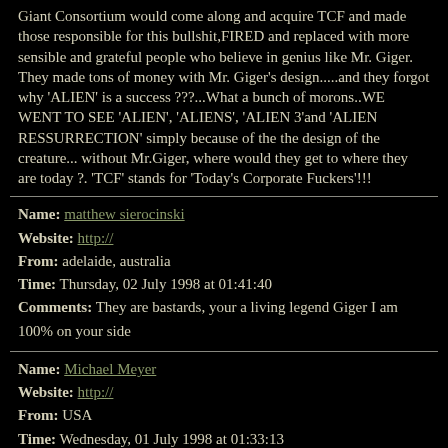Giant Consortium would come along and acquire TCF and made those responsible for this bullshit,FIRED and replaced with more sensible and grateful people who believe in genius like Mr. Giger. They made tons of money with Mr. Giger's design.....and they forgot why 'ALIEN' is a success ???...What a bunch of morons..WE WENT TO SEE 'ALIEN', 'ALIENS', 'ALIEN 3'and 'ALIEN RESSURRECTION' simply because of the the design of the creature... without Mr.Giger, where would they get to where they are today ?. 'TCF' stands for 'Today's Corporate Fuckers'!!!
Name: matthew sierocinski
Website: http://
From: adelaide, australia
Time: Thursday, 02 July 1998 at 01:41:40
Comments: They are bastards, your a living legend Giger I am 100% on your side
Name: Michael Meyer
Website: http://
From: USA
Time: Wednesday, 01 July 1998 at 01:33:13